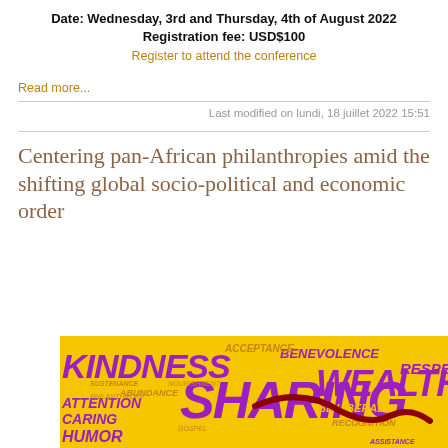Date: Wednesday, 3rd and Thursday, 4th of August 2022
Registration fee: USD$100
Register to attend the conference
Read more...
Last modified on lundi, 18 juillet 2022 15:51
Centering pan-African philanthropies amid the shifting global socio-political and economic order
[Figure (photo): Word art image on yellow background with words: KINDNESS, SHARING, WEALTH, BENEVOLENCE, RESPECT, ATTENTION, ABUNDANCE, CARING, BE LIBERAL, RECOGNITION, HUMOR, and other philanthropic words in purple and red on yellow background]